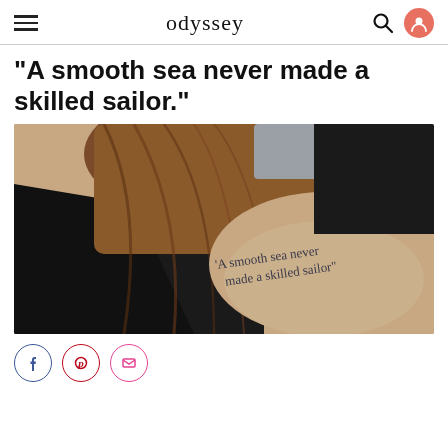odyssey
"A smooth sea never made a skilled sailor."
[Figure (photo): A person's upper arm with a tattoo reading 'A smooth sea never made a skilled sailor' in serif font. The person has long brown hair visible, wearing a dark top, photographed from behind/side.]
Facebook, Pinterest, Email share buttons